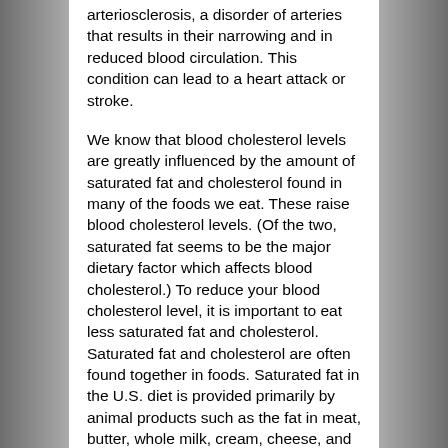arteriosclerosis, a disorder of arteries that results in their narrowing and in reduced blood circulation. This condition can lead to a heart attack or stroke.
We know that blood cholesterol levels are greatly influenced by the amount of saturated fat and cholesterol found in many of the foods we eat. These raise blood cholesterol levels. (Of the two, saturated fat seems to be the major dietary factor which affects blood cholesterol.) To reduce your blood cholesterol level, it is important to eat less saturated fat and cholesterol. Saturated fat and cholesterol are often found together in foods. Saturated fat in the U.S. diet is provided primarily by animal products such as the fat in meat, butter, whole milk, cream, cheese, and ice cream